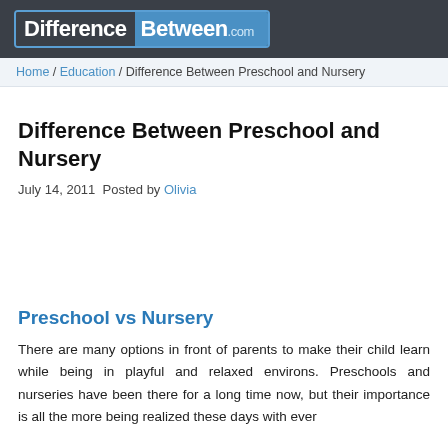DifferenceBetween.com
Home / Education / Difference Between Preschool and Nursery
Difference Between Preschool and Nursery
July 14, 2011 Posted by Olivia
Preschool vs Nursery
There are many options in front of parents to make their child learn while being in playful and relaxed environs. Preschools and nurseries have been there for a long time now, but their importance is all the more being realized these days with ever